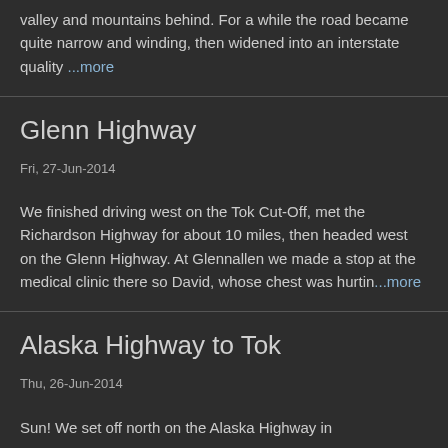valley and mountains behind. For a while the road became quite narrow and winding, then widened into an interstate quality ...more
Glenn Highway
Fri, 27-Jun-2014
We finished driving west on the Tok Cut-Off, met the Richardson Highway for about 10 miles, then headed west on the Glenn Highway. At Glennallen we made a stop at the medical clinic there so David, whose chest was hurtin...more
Alaska Highway to Tok
Thu, 26-Jun-2014
Sun! We set off north on the Alaska Highway in